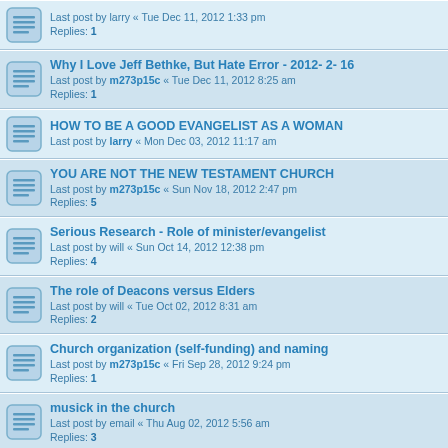Last post by larry « Tue Dec 11, 2012 1:33 pm
Replies: 1
Why I Love Jeff Bethke, But Hate Error - 2012- 2- 16
Last post by m273p15c « Tue Dec 11, 2012 8:25 am
Replies: 1
HOW TO BE A GOOD EVANGELIST AS A WOMAN
Last post by larry « Mon Dec 03, 2012 11:17 am
YOU ARE NOT THE NEW TESTAMENT CHURCH
Last post by m273p15c « Sun Nov 18, 2012 2:47 pm
Replies: 5
Serious Research - Role of minister/evangelist
Last post by will « Sun Oct 14, 2012 12:38 pm
Replies: 4
The role of Deacons versus Elders
Last post by will « Tue Oct 02, 2012 8:31 am
Replies: 2
Church organization (self-funding) and naming
Last post by m273p15c « Fri Sep 28, 2012 9:24 pm
Replies: 1
musick in the church
Last post by email « Thu Aug 02, 2012 5:56 am
Replies: 3
Matt 23:8-12 - title of "Teacher" is NOT condemned
Last post by m273p15c « Tue Jul 10, 2012 12:31 pm
Replies: 15
extent of discipline for the lost sheep
Last post by will « Sun May 06, 2012 11:19 pm
Search for a Church/minister Directory